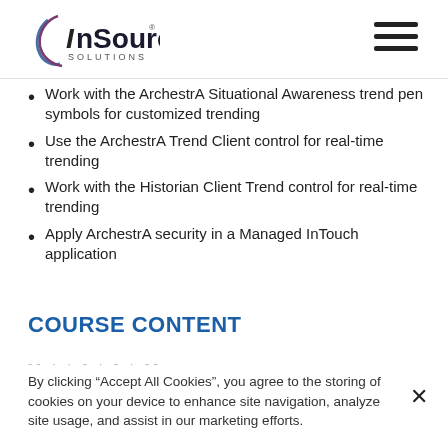InSource Solutions logo and navigation
Work with the ArchestrA Situational Awareness trend pen symbols for customized trending
Use the ArchestrA Trend Client control for real-time trending
Work with the Historian Client Trend control for real-time trending
Apply ArchestrA security in a Managed InTouch application
COURSE CONTENT
By clicking “Accept All Cookies”, you agree to the storing of cookies on your device to enhance site navigation, analyze site usage, and assist in our marketing efforts.